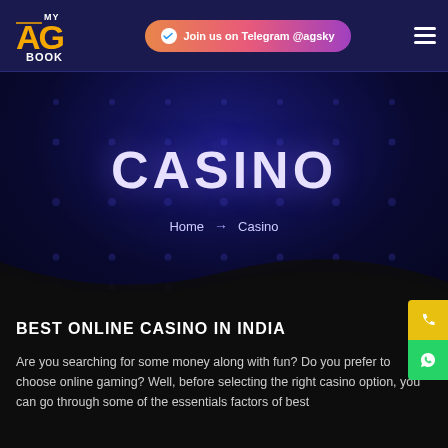MY AG BOOK | Join us on Telegram @agsky
CASINO
Home → Casino
BEST ONLINE CASINO IN INDIA
Are you searching for some money along with fun? Do you prefer to choose online gaming? Well, before selecting the right casino option, you can go through some of the essentials factors of best